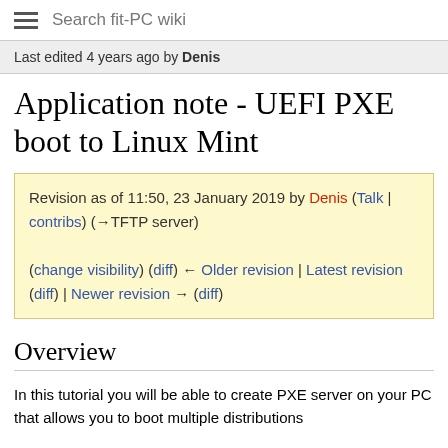Search fit-PC wiki
Last edited 4 years ago by Denis
Application note - UEFI PXE boot to Linux Mint
Revision as of 11:50, 23 January 2019 by Denis (Talk | contribs) (→TFTP server)

(change visibility) (diff) ← Older revision | Latest revision (diff) | Newer revision → (diff)
Overview
In this tutorial you will be able to create PXE server on your PC that allows you to boot multiple distributions